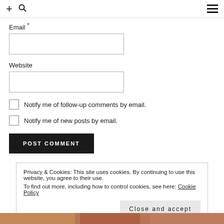+ 🔍 ☰
Email *
Website
Notify me of follow-up comments by email.
Notify me of new posts by email.
POST COMMENT
Privacy & Cookies: This site uses cookies. By continuing to use this website, you agree to their use.
To find out more, including how to control cookies, see here: Cookie Policy
Close and accept